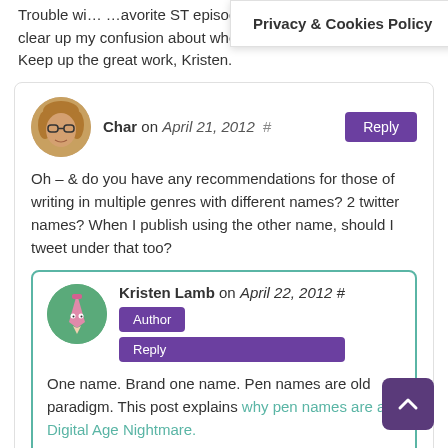Trouble wi... avorite ST episode. Your pics brighte... elps clear up my confusion about when to use & retweet hashtags! Keep up the great work, Kristen.
Privacy & Cookies Policy
Char on April 21, 2012 #
Oh – & do you have any recommendations for those of writing in multiple genres with different names? 2 twitter names? When I publish using the other name, should I tweet under that too?
Kristen Lamb on April 22, 2012 #
One name. Brand one name. Pen names are old paradigm. This post explains why pen names are a Digital Age Nightmare.